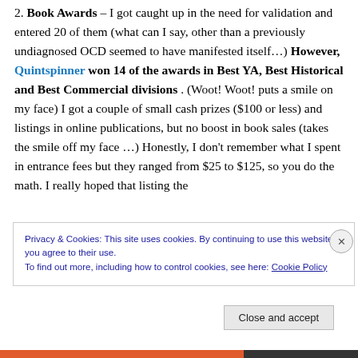2. Book Awards – I got caught up in the need for validation and entered 20 of them (what can I say, other than a previously undiagnosed OCD seemed to have manifested itself…) However, Quintspinner won 14 of the awards in Best YA, Best Historical and Best Commercial divisions . (Woot! Woot! puts a smile on my face) I got a couple of small cash prizes ($100 or less) and listings in online publications, but no boost in book sales (takes the smile off my face …) Honestly, I don't remember what I spent in entrance fees but they ranged from $25 to $125, so you do the math. I really hoped that listing the
Privacy & Cookies: This site uses cookies. By continuing to use this website, you agree to their use.
To find out more, including how to control cookies, see here: Cookie Policy
Close and accept